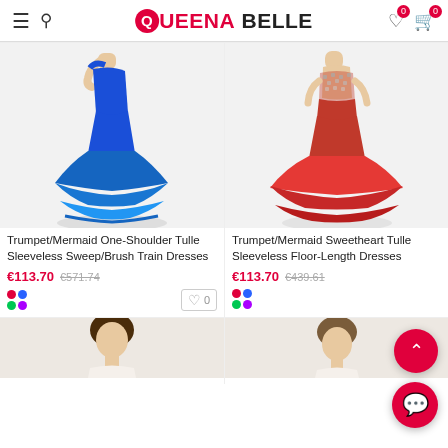Queena Belle — navigation header with logo, search, wishlist and cart icons
[Figure (photo): Model wearing a royal blue trumpet/mermaid one-shoulder tulle dress with ruffled tiered skirt]
Trumpet/Mermaid One-Shoulder Tulle Sleeveless Sweep/Brush Train Dresses
€113.70  €571.74
[Figure (photo): Model wearing a red trumpet/mermaid sweetheart tulle dress with beaded bodice and ruffled skirt]
Trumpet/Mermaid Sweetheart Tulle Sleeveless Floor-Length Dresses
€113.70  €439.61
[Figure (photo): Partial view of a model in a light-colored dress — bottom product row left]
[Figure (photo): Partial view of a model in a light-colored dress — bottom product row right]